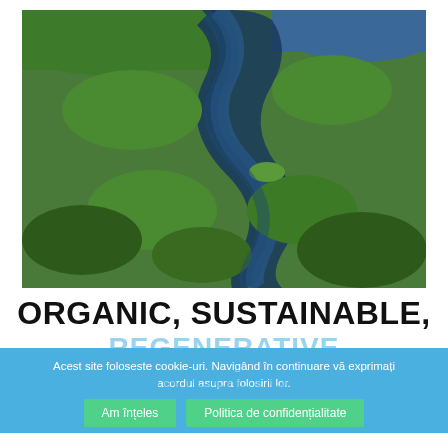[Figure (photo): Aerial view of a winding river or estuary through green marshland and wetlands, with blue water visible at the top]
ORGANIC, SUSTAINABLE,
REGENERATIVE
AGRICULTURE
Acest site foloseste cookie-uri. Navigând în continuare vă exprimați acordul asupra folosirii lor.
Am înțeles    Politica de confidențialitate